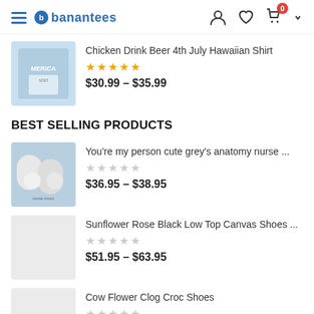banantees – navigation header with hamburger, logo, user, wishlist, cart icons
[Figure (photo): Product thumbnail: Merica chicken drink beer 4th July Hawaiian shirt]
Chicken Drink Beer 4th July Hawaiian Shirt
★★★★★ (5 stars)
$30.99 – $35.99
BEST SELLING PRODUCTS
[Figure (photo): Product thumbnail: You're my person cute grey's anatomy nurse crocs shoes]
You're my person cute grey's anatomy nurse ...
☆☆☆☆☆ (0 stars)
$36.95 – $38.95
[Figure (photo): Product thumbnail placeholder: Sunflower Rose Black Low Top Canvas Shoes]
Sunflower Rose Black Low Top Canvas Shoes ...
☆☆☆☆☆ (0 stars)
$51.95 – $63.95
[Figure (photo): Product thumbnail placeholder: Cow Flower Clog Croc Shoes]
Cow Flower Clog Croc Shoes
☆☆☆☆☆ (0 stars)
$36.95 – $41.95